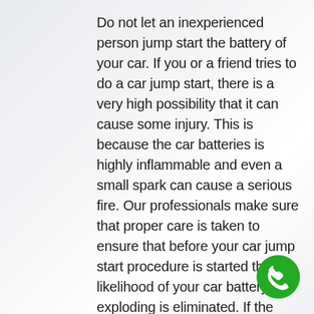Do not let an inexperienced person jump start the battery of your car. If you or a friend tries to do a car jump start, there is a very high possibility that it can cause some injury. This is because the car batteries is highly inflammable and even a small spark can cause a serious fire. Our professionals make sure that proper care is taken to ensure that before your car jump start procedure is started the likelihood of your car battery exploding is eliminated. If the jump start does not work for your vehicle, we then offer you vehicle recovery to a destination of your choice.
[Figure (illustration): Green circular phone call button icon in the bottom-right corner]